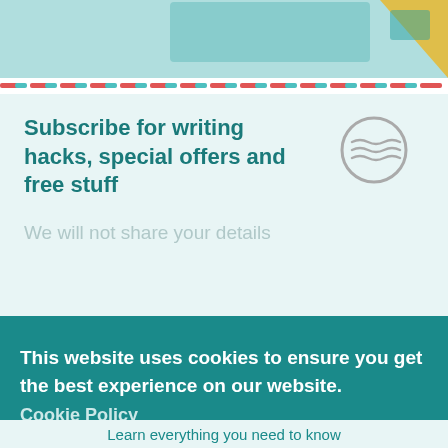[Figure (illustration): Top image strip showing a light teal/blue background with partial view of colorful objects including an orange/yellow element at the right edge]
Subscribe for writing hacks, special offers and free stuff
We will not share your details
[Figure (illustration): Circular stamp icon with wavy lines, gray outline on light teal background]
This website uses cookies to ensure you get the best experience on our website.
Cookie Policy
Got it!
Learn everything you need to know